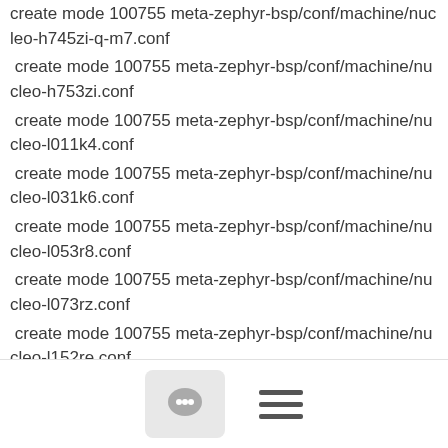create mode 100755 meta-zephyr-bsp/conf/machine/nucleo-h745zi-q-m7.conf
 create mode 100755 meta-zephyr-bsp/conf/machine/nucleo-h753zi.conf
 create mode 100755 meta-zephyr-bsp/conf/machine/nucleo-l011k4.conf
 create mode 100755 meta-zephyr-bsp/conf/machine/nucleo-l031k6.conf
 create mode 100755 meta-zephyr-bsp/conf/machine/nucleo-l053r8.conf
 create mode 100755 meta-zephyr-bsp/conf/machine/nucleo-l073rz.conf
 create mode 100755 meta-zephyr-bsp/conf/machine/nucleo-l152re.conf
 create mode 100755 meta-zephyr-bsp/conf/machine/nucleo-l412rb-p.conf
 create mode 100755 meta-zephyr-bsp/conf/machine/nucleo-l432kc.conf
 create mode 100755 meta-zephyr-bsp/conf/machine/nucleo-l432re-p.conf
[Figure (infographic): Bottom navigation bar with a comment/chat icon button and a hamburger menu icon]